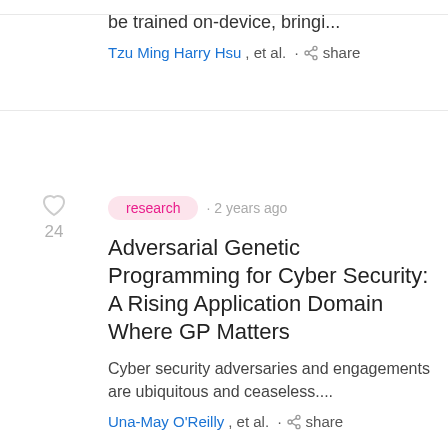be trained on-device, bringi...
Tzu Ming Harry Hsu, et al. · share
24
research · 2 years ago
Adversarial Genetic Programming for Cyber Security: A Rising Application Domain Where GP Matters
Cyber security adversaries and engagements are ubiquitous and ceaseless....
Una-May O'Reilly, et al. · share
24
research · 2 years ago
HAT: Hardware-Aware Transformers for Efficient Natural Language Processing